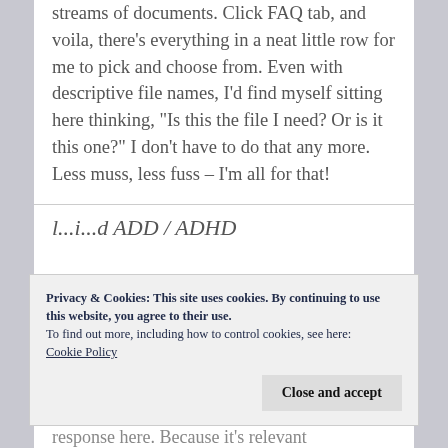streams of documents. Click FAQ tab, and voila, there's everything in a neat little row for me to pick and choose from. Even with descriptive file names, I'd find myself sitting here thinking, "Is this the file I need? Or is it this one?" I don't have to do that any more. Less muss, less fuss – I'm all for that!
response here. Because it's relevant
Privacy & Cookies: This site uses cookies. By continuing to use this website, you agree to their use.
To find out more, including how to control cookies, see here:
Cookie Policy